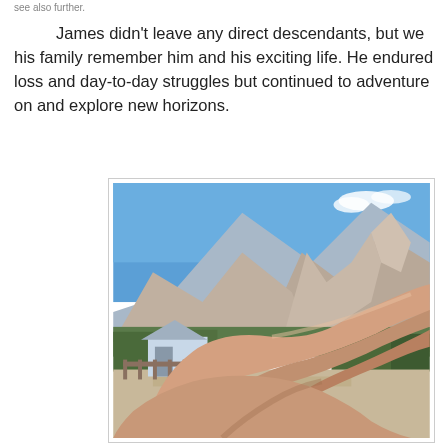see also further.
James didn't leave any direct descendants, but we his family remember him and his exciting life. He endured loss and day-to-day struggles but continued to adventure on and explore new horizons.
[Figure (photo): A hand making a pointing or gun-finger gesture in the foreground, with a mountain landscape behind — rocky peaks, blue sky with clouds, trees, a small house with a fence, and a dirt road. The photo is displayed inside a white bordered frame.]